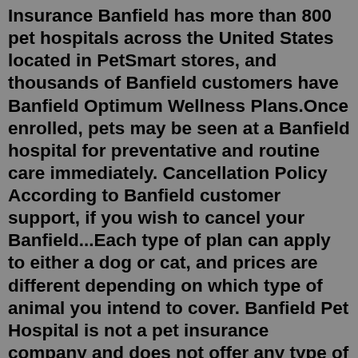Insurance Banfield has more than 800 pet hospitals across the United States located in PetSmart stores, and thousands of Banfield customers have Banfield Optimum Wellness Plans.Once enrolled, pets may be seen at a Banfield hospital for preventative and routine care immediately. Cancellation Policy According to Banfield customer support, if you wish to cancel your Banfield...Each type of plan can apply to either a dog or cat, and prices are different depending on which type of animal you intend to cover. Banfield Pet Hospital is not a pet insurance company and does not offer any type of traditional pet insurance plan. Key Takeaways. Wellness plans start at just $37.95/month for dogs and $26.95/month for cats. We have been with Banfield for 18 years, 3 dogs. Our dog was breathing rapidly and wouldn't eat. My husband tried to get her in to see the Vet, they said take her to an Emergency Hospital, the ...Cash saved up or actual pet insurance is better because you pay interest on a credit card. Banfield is more like a